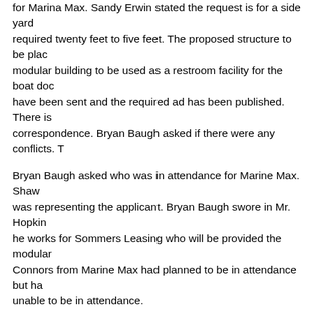Bryan Baugh requested Sandy Erwin read the information on the request for Marina Max. Sandy Erwin stated the request is for a side yard setback required twenty feet to five feet. The proposed structure to be placed is a modular building to be used as a restroom facility for the boat dock. Notices have been sent and the required ad has been published. There is no correspondence. Bryan Baugh asked if there were any conflicts. T...
Bryan Baugh asked who was in attendance for Marine Max. Shaw... was representing the applicant. Bryan Baugh swore in Mr. Hopkins... he works for Sommers Leasing who will be provided the modular... Connors from Marine Max had planned to be in attendance but ha... unable to be in attendance.
Mr. Hopkins stated the variance request is to allow a modular rest... dock that will be five feet from the north property line. Boats that d... Marine Max's property do not want to walk to the other end of the... restrooms are available. This is being done for the convenience o... customers. The lease of the modular unit is for five years. Mr. Hop... any questions the Board members might have on the request.
Jack Devore stated he visited the site and observed the lines pain... saw a pin at the edge of the asphalt. He asked how close to the fe... being located. Shawn Hopkins stated the unit is five feet from the... D... stated it is set five feet from the fence. Mr. Hopkins stated to...